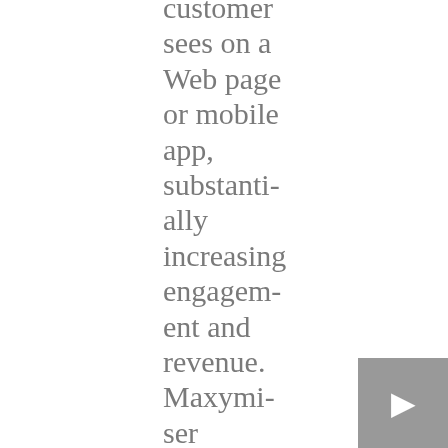customer sees on a Web page or mobile app, substantially increasing engagement and revenue. Maxymiser optimizes over 20 billion customer